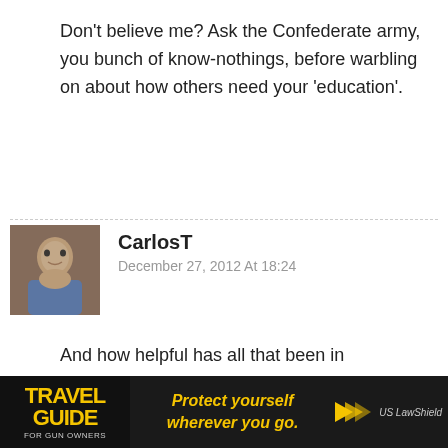Don't believe me? Ask the Confederate army, you bunch of know-nothings, before warbling on about how others need your 'education'.
CarlosT
December 27, 2012 At 18:24
And how helpful has all that been in Afghanistan, against an enemy with not much more than rifles and improvised bombs?

That heavy hardware is great for winning territory. Holding territory requires boots on the ground and that means small arms. Unless the US military is going to practice scorched earth tactics on its on soil, the fight is going to be a lot
[Figure (photo): Male commenter avatar photo showing a man with short hair]